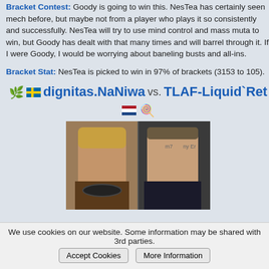Bracket Contest: Goody is going to win this. NesTea has certainly seen mech before, but maybe not from a player who plays it so consistently and successfully. NesTea will try to use mind control and mass muta to win, but Goody has dealt with that many times and will barrel through it. If I were Goody, I would be worrying about baneling busts and all-ins.
Bracket Stat: NesTea is picked to win in 97% of brackets (3153 to 105).
dignitas.NaNiwa vs. TLAF-Liquid`Ret
[Figure (photo): Side-by-side photos of two esports players, NaNiwa on the left and Ret on the right]
Naniwa is on a PvZ hot streak. Just coming off his GCPL, semifinal ACE
We use cookies on our website. Some information may be shared with 3rd parties.